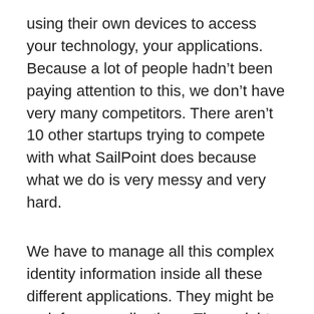using their own devices to access your technology, your applications. Because a lot of people hadn't been paying attention to this, we don't have very many competitors. There aren't 10 other startups trying to compete with what SailPoint does because what we do is very messy and very hard.
We have to manage all this complex identity information inside all these different applications. They might be mainframe applications. They might be 10-year-old web applications. They might be 2-month-old SaaS applications. To manage that all cohesively is very complex technology. That's what we do.
Our competitors are companies like IBM and Oracle and